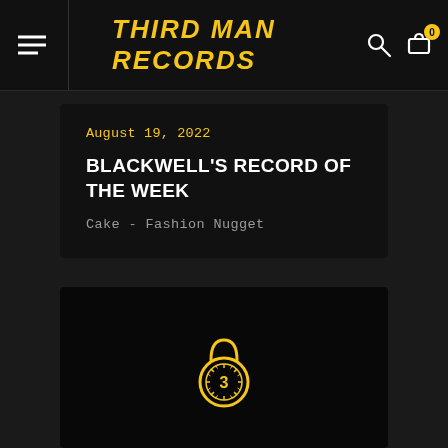THIRD MAN RECORDS
August 19, 2022
BLACKWELL'S RECORD OF THE WEEK
Cake - Fashion Nugget
[Figure (logo): Third Man Records padlock logo with the number 3 in the center, golden/yellow color on black background]